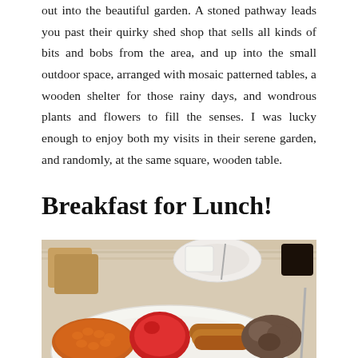out into the beautiful garden. A stoned pathway leads you past their quirky shed shop that sells all kinds of bits and bobs from the area, and up into the small outdoor space, arranged with mosaic patterned tables, a wooden shelter for those rainy days, and wondrous plants and flowers to fill the senses. I was lucky enough to enjoy both my visits in their serene garden, and randomly, at the same square, wooden table.
Breakfast for Lunch!
[Figure (photo): A full English breakfast served on a white plate, showing baked beans in tomato sauce, a grilled tomato, sausages, mushrooms. Toast and cups of tea/coffee visible in the background on a wooden table.]